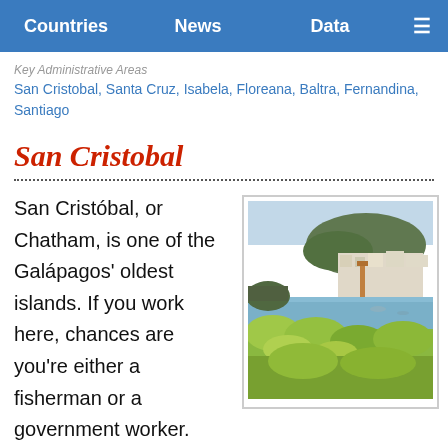Countries | News | Data | ☰
Key Administrative Areas
San Cristobal, Santa Cruz, Isabela, Floreana, Baltra, Fernandina, Santiago
San Cristobal
[Figure (photo): Coastal view of San Cristobal island showing a bay with buildings on hillside, a tower/monument, and green vegetation in foreground under a clear sky.]
San Cristóbal, or Chatham, is one of the Galápagos' oldest islands. If you work here, chances are you're either a fisherman or a government worker.